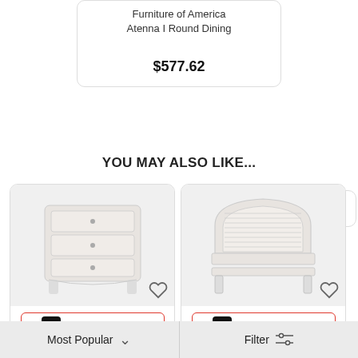Furniture of America Atenna I Round Dining
$577.62
YOU MAY ALSO LIKE...
[Figure (photo): White 3-drawer nightstand furniture product image]
SEARCH SIMILAR
Acme Furniture Ireland I White Nightstand
[Figure (photo): White queen panel headboard furniture product image]
SEARCH SIMILAR
Liberty Summer House I White Queen Panel
Most Popular    Filter